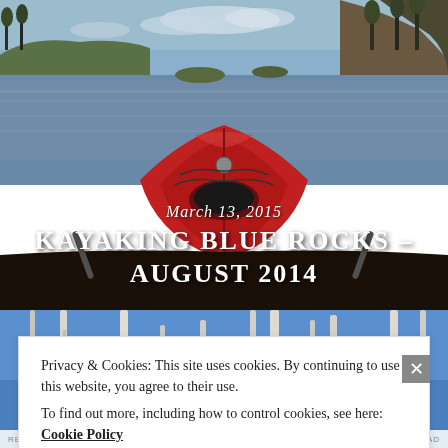[Figure (photo): View from inside a red kayak looking out over calm water with rocky islands and forested shores in the background. The kayak's bow is prominently visible in the foreground.]
KAYAKING BLUE ROCKS – AUGUST 2014
March 13, 2015
[Figure (photo): Bare white birch trees against a bright blue sky, partial view as background behind the cookie consent banner.]
Privacy & Cookies: This site uses cookies. By continuing to use this website, you agree to their use.
To find out more, including how to control cookies, see here: Cookie Policy
Close and accept